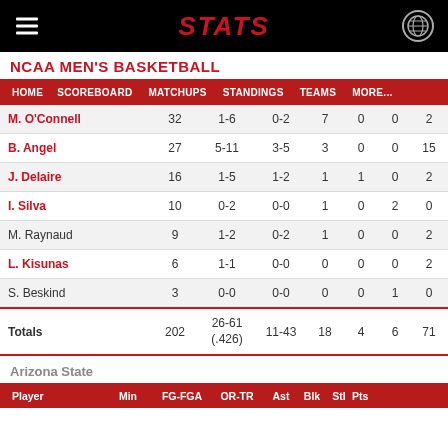STATS
NCAA MEN'S BASKETBALL
| HOME | SCOREBOARD | MATCHUPS | STANDINGS | TEAMS | MORE... |
| --- | --- | --- | --- | --- | --- |
|  | Min | FG-FGA | OR-TR | Ast | Blk | Stl | Pts |
| --- | --- | --- | --- | --- | --- | --- | --- |
| M. O'Connell | 32 | 1-6 | 0-2 | 7 | 0 | 0 | 2 |
| B. Angel | 27 | 5-11 | 3-5 | 3 | 0 | 0 | 15 |
| J. Delaire | 16 | 1-5 | 1-2 | 1 | 1 | 0 | 2 |
| I. Silva | 10 | 0-2 | 0-0 | 1 | 0 | 2 | 0 |
| M. Raynaud | 9 | 1-2 | 0-2 | 1 | 0 | 0 | 2 |
| L. Kisunas | 6 | 1-1 | 0-0 | 0 | 0 | 0 | 2 |
| S. Beskind | 3 | 0-0 | 0-0 | 0 | 0 | 1 | 0 |
| Totals | 202 | 26-61 (.426) | 11-43 | 18 | 4 | 6 | 71 |
Arizona State
| Player | Min | FG-FGA | OR-TR | Ast | Blk | Stl | Pts |
| --- | --- | --- | --- | --- | --- | --- | --- |